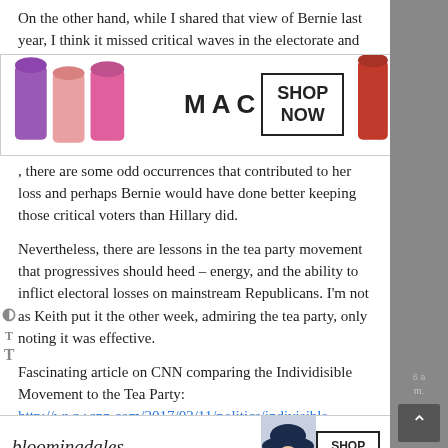On the other hand, while I shared that view of Bernie last year, I think it missed critical waves in the electorate and
[Figure (photo): MAC cosmetics advertisement banner showing colorful lipsticks on left side, MAC logo in center, and SHOP NOW box on right, with a red lipstick on far right]
there are some odd occurrences that contributed to her loss and perhaps Bernie would have done better keeping those critical voters than Hillary did.
Nevertheless, there are lessons in the tea party movement that progressives should heed – energy, and the ability to inflict electoral losses on mainstream Republicans. I'm not as Keith put it the other week, admiring the tea party, only noting it was effective.
Fascinating article on CNN comparing the Individisible Movement to the Tea Party:
http://www.cnn.com/2017/02/11/politics/indivisible-profile-trnd/index.html
Log in to Reply ↓
[Figure (photo): Bloomingdale's advertisement banner with cursive logo, 'View Today's Top Deals!' text, woman in blue hat photo, and SHOP NOW > button]
[Figure (screenshot): Gray sidebar on right with up arrow button and partial timestamp text]